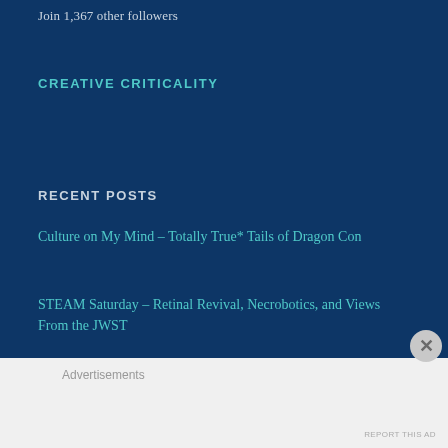Join 1,367 other followers
CREATIVE CRITICALITY
RECENT POSTS
Culture on My Mind – Totally True* Tails of Dragon Con
STEAM Saturday – Retinal Revival, Necrobotics, and Views From the JWST
Advertisements
REPORT THIS AD